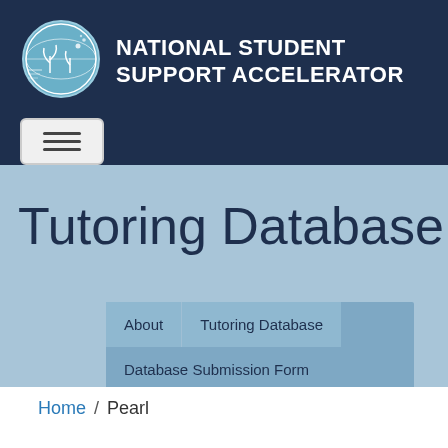[Figure (logo): National Student Support Accelerator logo: circular icon with plant/globe motif in light blue, with organization name in white uppercase text to the right]
Tutoring Database
About
Tutoring Database
Database Submission Form
Home / Pearl